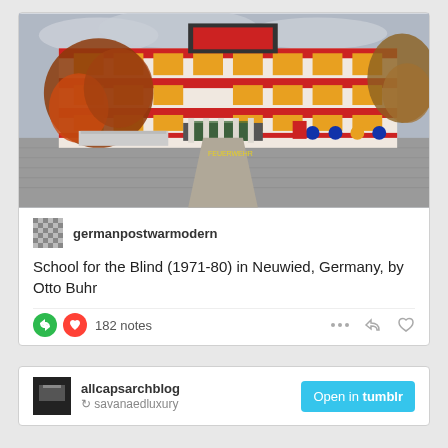[Figure (photo): Exterior photograph of the School for the Blind building (1971-80) in Neuwied, Germany, designed by Otto Buhr. The building features red and yellow facade panels with a modernist post-war design. Autumn trees are visible on left and right. A large paved courtyard is in the foreground.]
germanpostwarmodern
School for the Blind (1971-80) in Neuwied, Germany, by Otto Buhr
182 notes
[Figure (screenshot): Bottom card showing allcapsarchblog user and Open in tumblr button]
allcapsarchblog
Open in tumblr